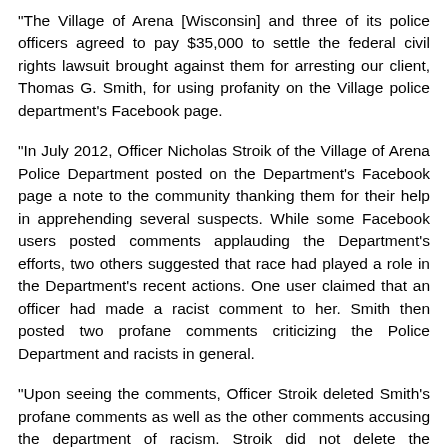"The Village of Arena [Wisconsin] and three of its police officers agreed to pay $35,000 to settle the federal civil rights lawsuit brought against them for arresting our client, Thomas G. Smith, for using profanity on the Village police department's Facebook page.
"In July 2012, Officer Nicholas Stroik of the Village of Arena Police Department posted on the Department's Facebook page a note to the community thanking them for their help in apprehending several suspects. While some Facebook users posted comments applauding the Department's efforts, two others suggested that race had played a role in the Department's recent actions. One user claimed that an officer had made a racist comment to her. Smith then posted two profane comments criticizing the Police Department and racists in general.
"Upon seeing the comments, Officer Stroik deleted Smith's profane comments as well as the other comments accusing the department of racism. Stroik did not delete the Facebook comments praising the police for its handling of the situation. Stroik then decided that Smith should be arrested and